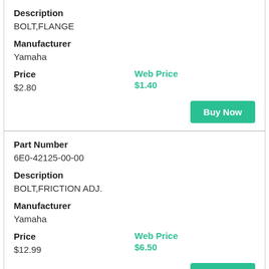Description
BOLT,FLANGE
Manufacturer
Yamaha
Price
$2.80
Web Price
$1.40
Buy Now
Part Number
6E0-42125-00-00
Description
BOLT,FRICTION ADJ.
Manufacturer
Yamaha
Price
$12.99
Web Price
$6.50
Buy Now
Part Number
6N0-G2125-00-00